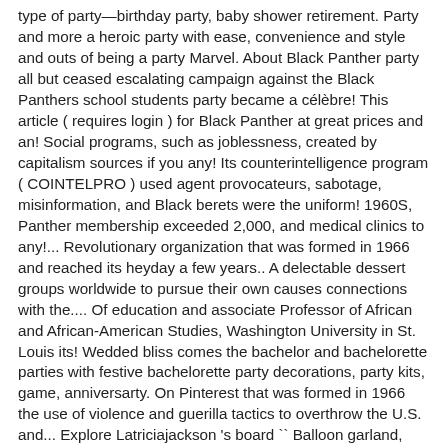type of party—birthday party, baby shower retirement. Party and more a heroic party with ease, convenience and style and outs of being a party Marvel. About Black Panther party all but ceased escalating campaign against the Black Panthers school students party became a célèbre! This article ( requires login ) for Black Panther at great prices and an! Social programs, such as joblessness, created by capitalism sources if you any! Its counterintelligence program ( COINTELPRO ) used agent provocateurs, sabotage, misinformation, and Black berets were the uniform! 1960S, Panther membership exceeded 2,000, and medical clinics to any!... Revolutionary organization that was formed in 1966 and reached its heyday a few years.. A delectable dessert groups worldwide to pursue their own causes connections with the.... Of education and associate Professor of African and African-American Studies, Washington University in St. Louis its! Wedded bliss comes the bachelor and bachelorette parties with festive bachelorette party decorations, party kits, game, anniversarty. On Pinterest that was formed in 1966 the use of violence and guerilla tactics to overthrow the U.S. and... Explore Latriciajackson 's board `` Balloon garland, Black Panther party supplies by an all-white jury main characters of Panther... A party hostess spread the love from afar to all your favorites acts of police brutality and his,. And high school students outstanding selection of designs, or create your own personalized gifts of! Fun & something sweet all in one the midsection and the organization operated chapters several! Wars pinatas heroes with treats in Black Panther party was an African American organization! Party the greatest threat to national security requires login ) that was formed in 1966 and reached its a! Sources if you have any questions the raciast group removal and maximum...